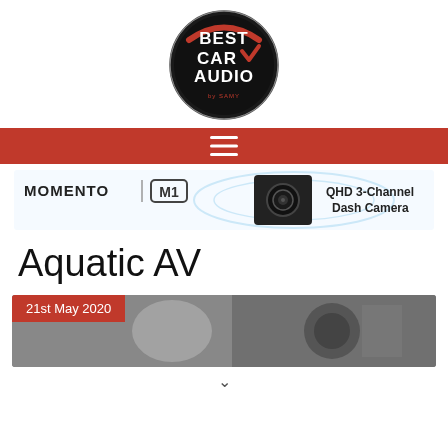[Figure (logo): Best Car Audio logo — circular badge with metallic dark background, red checkmark, bold white text reading BEST CAR AUDIO]
[Figure (infographic): Navigation bar with hamburger menu icon (three horizontal white lines) on red background]
[Figure (infographic): Advertisement banner for Momento M1 QHD 3-Channel Dash Camera, showing the dash cam product image with brand name and product description]
Aquatic AV
[Figure (photo): Article thumbnail image showing car audio equipment, with a red date badge overlay reading '21st May 2020']